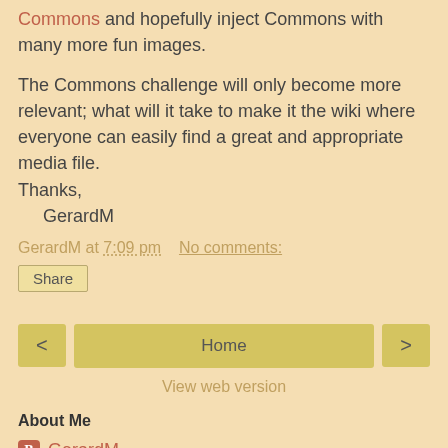Commons and hopefully inject Commons with many more fun images.
The Commons challenge will only become more relevant; what will it take to make it the wiki where everyone can easily find a great and appropriate media file.
Thanks,
    GerardM
GerardM at 7:09 pm   No comments:
Share
< Home >
View web version
About Me
GerardM
View my complete profile